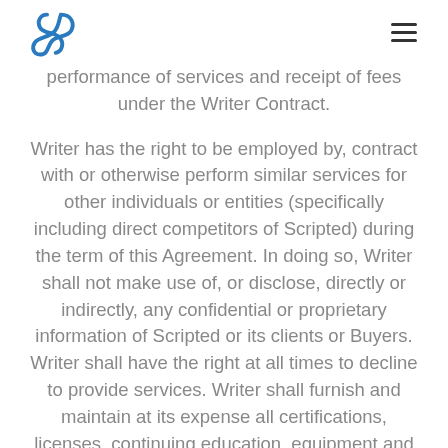[Scripted logo] [hamburger menu]
performance of services and receipt of fees under the Writer Contract.
Writer has the right to be employed by, contract with or otherwise perform similar services for other individuals or entities (specifically including direct competitors of Scripted) during the term of this Agreement. In doing so, Writer shall not make use of, or disclose, directly or indirectly, any confidential or proprietary information of Scripted or its clients or Buyers. Writer shall have the right at all times to decline to provide services. Writer shall furnish and maintain at its expense all certifications, licenses, continuing education, equipment and materials used